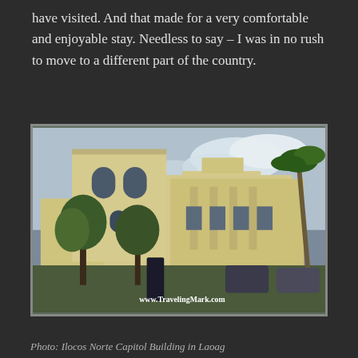have visited. And that made for a very comfortable and enjoyable stay. Needless to say – I was in no rush to move to a different part of the country.
[Figure (photo): Photograph of the Ilocos Norte Capitol Building in Laoag, Philippines. A large neoclassical cream-colored government building with arched windows and columns, surrounded by trees including a palm tree. Cars are parked in front. Watermark reads www.TravelingMark.com]
Photo: Ilocos Norte Capitol Building in Laoag